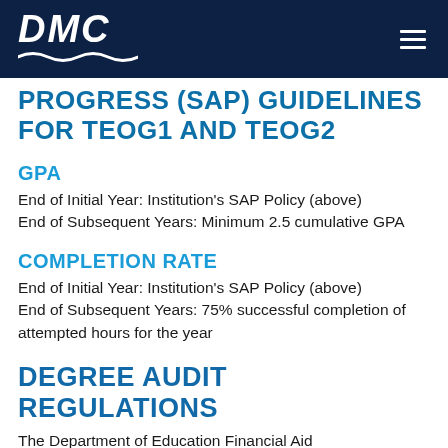DMC
PROGRESS (SAP) GUIDELINES FOR TEOG1 AND TEOG2
GPA
End of Initial Year: Institution's SAP Policy (above) End of Subsequent Years: Minimum 2.5 cumulative GPA
COMPLETION RATE
End of Initial Year: Institution's SAP Policy (above) End of Subsequent Years: 75% successful completion of attempted hours for the year
DEGREE AUDIT REGULATIONS
The Department of Education Financial Aid